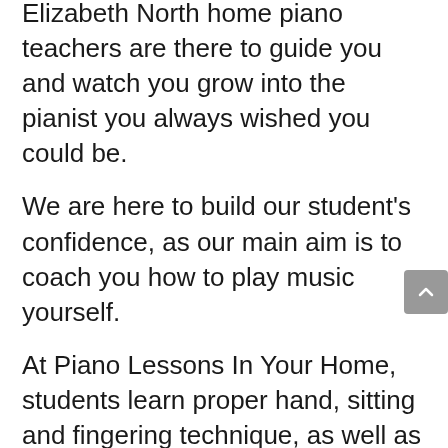Elizabeth North home piano teachers are there to guide you and watch you grow into the pianist you always wished you could be.
We are here to build our student's confidence, as our main aim is to coach you how to play music yourself.
At Piano Lessons In Your Home, students learn proper hand, sitting and fingering technique, as well as how to read sheet music and music theory.
We are passionate about music and are passionate about helping our piano students